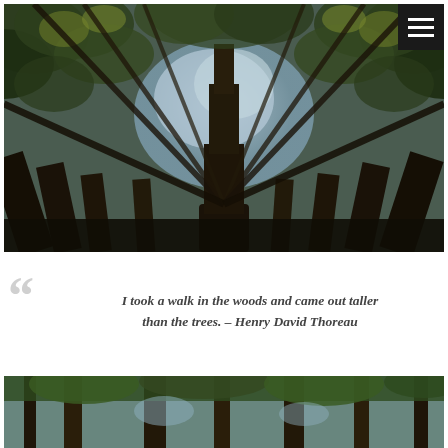[Figure (photo): Upward-looking photo through tall forest trees (pine/redwood canopy) showing branches radiating outward against a pale sky, taken from ground level looking up the trunk]
I took a walk in the woods and came out taller than the trees. – Henry David Thoreau
[Figure (photo): Another upward-looking forest photo showing tall tree trunks and green canopy against sky, similar perspective to the top image]